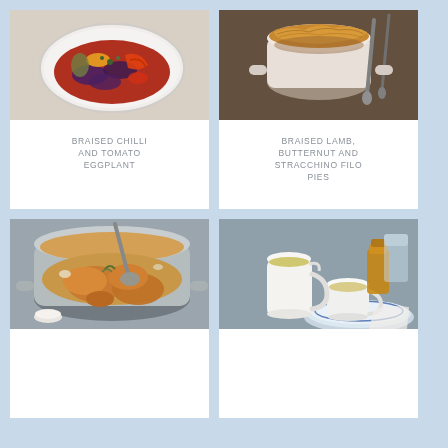[Figure (photo): Braised chilli and tomato eggplant dish in a white oval baking dish, viewed from above, with colorful roasted vegetables]
BRAISED CHILLI AND TOMATO EGGPLANT
[Figure (photo): Braised lamb butternut and stracchino filo pies in a round pot with pastry top, with spoons on a dark surface]
BRAISED LAMB, BUTTERNUT AND STRACCHINO FILO PIES
[Figure (photo): Braised chicken pieces in a large grey casserole dish with herbs and vegetables]
[Figure (photo): Warm drink in a white ceramic cup and pitcher on a blue and white decorative plate, with a glass and small bottle in background]